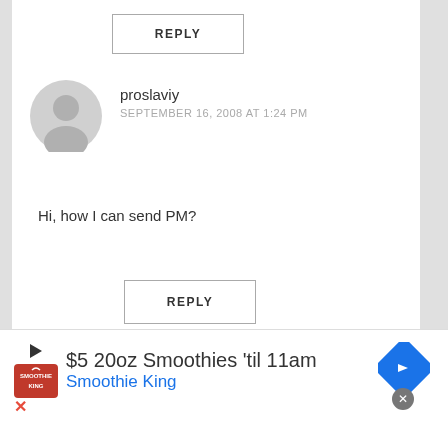REPLY
proslaviy
SEPTEMBER 16, 2008 AT 1:24 PM
Hi, how I can send PM?
REPLY
THE DAILY MINDER
NOVEMBER 4, 2008 AT
$5 20oz Smoothies 'til 11am
Smoothie King